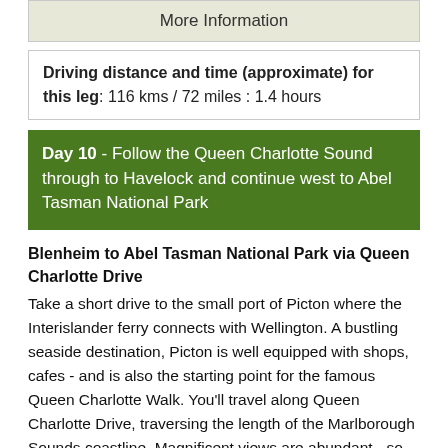[Figure (other): More Information button/link area with light green background]
Driving distance and time (approximate) for this leg: 116 kms / 72 miles : 1.4 hours
Day 10 - Follow the Queen Charlotte Sound through to Havelock and continue west to Abel Tasman National Park
Blenheim to Abel Tasman National Park via Queen Charlotte Drive
Take a short drive to the small port of Picton where the Interislander ferry connects with Wellington. A bustling seaside destination, Picton is well equipped with shops, cafes - and is also the starting point for the famous Queen Charlotte Walk. You'll travel along Queen Charlotte Drive, traversing the length of the Marlborough Sounds coastline. Magnificent views are abundant - so be sure to make time to stop and enjoy the scenery as you go.